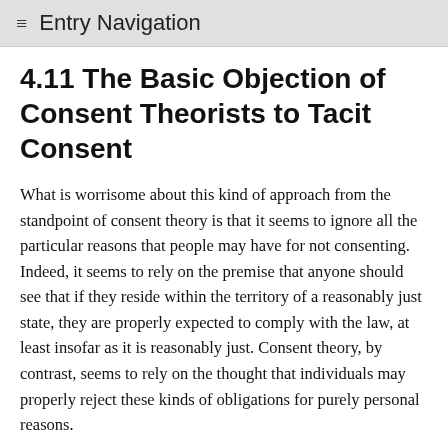≡  Entry Navigation
4.11 The Basic Objection of Consent Theorists to Tacit Consent
What is worrisome about this kind of approach from the standpoint of consent theory is that it seems to ignore all the particular reasons that people may have for not consenting. Indeed, it seems to rely on the premise that anyone should see that if they reside within the territory of a reasonably just state, they are properly expected to comply with the law, at least insofar as it is reasonably just. Consent theory, by contrast, seems to rely on the thought that individuals may properly reject these kinds of obligations for purely personal reasons.
We can see a dilemma that arises from the above considerations. If tacit consent genuinely arises from voluntary residence in a reasonably just state, then it appears that the interpretation of the person's residence does not take account of what many consent theorists have thought was essential to consent theory, namely the…